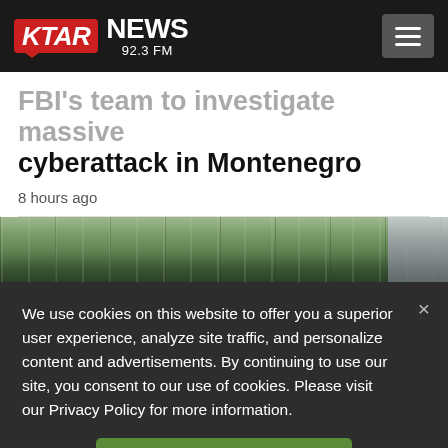KTAR NEWS 92.3 FM
FBI's team to investigate massive cyberattack in Montenegro
8 hours ago
[Figure (photo): Outdoor photo showing trees and a building exterior]
We use cookies on this website to offer you a superior user experience, analyze site traffic, and personalize content and advertisements. By continuing to use our site, you consent to our use of cookies. Please visit our Privacy Policy for more information.
Accept Cookies